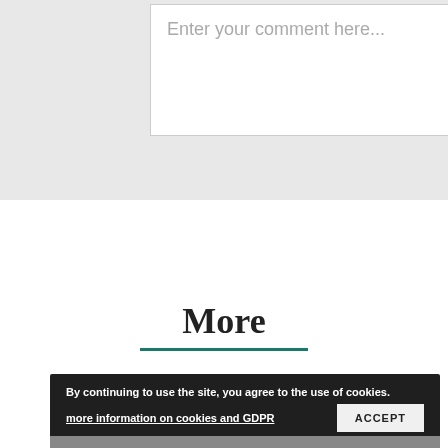Enter your comment here...
More
By continuing to use the site, you agree to the use of cookies. more information on cookies and GDPR  ACCEPT